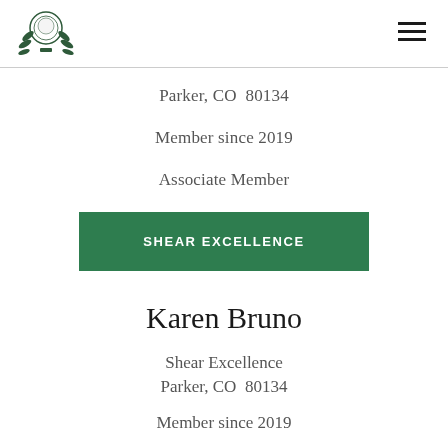National Shearing Tool Association logo and navigation
Parker, CO  80134
Member since 2019
Associate Member
SHEAR EXCELLENCE
Karen Bruno
Shear Excellence
Parker, CO  80134
Member since 2019